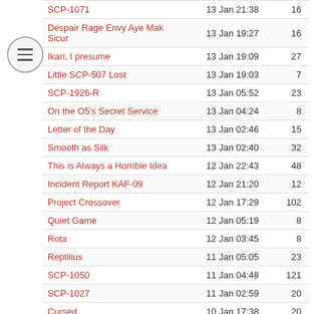| Title | Date | Count |
| --- | --- | --- |
| SCP-1071 | 13 Jan 21:38 | 16 |
| Despair Rage Envy Aye Mak Sicur | 13 Jan 19:27 | 16 |
| Ikari, I presume | 13 Jan 19:09 | 27 |
| Little SCP-507 Lost | 13 Jan 19:03 | 7 |
| SCP-1926-R | 13 Jan 05:52 | 23 |
| On the O5's Secret Service | 13 Jan 04:24 | 8 |
| Letter of the Day | 13 Jan 02:46 | 15 |
| Smooth as Silk | 13 Jan 02:40 | 32 |
| This is Always a Horrible Idea | 12 Jan 22:43 | 48 |
| Incident Report KAF-09 | 12 Jan 21:20 | 12 |
| Project Crossover | 12 Jan 17:29 | 102 |
| Quiet Game | 12 Jan 05:19 | 8 |
| Rota | 12 Jan 03:45 | 8 |
| Reptilius | 11 Jan 05:05 | 23 |
| SCP-1050 | 11 Jan 04:48 | 121 |
| SCP-1027 | 11 Jan 02:59 | 20 |
| Cursed | 10 Jan 17:38 | 20 |
| Old Faithful | 9 Jan 20:59 | 14 |
| Conversation 3: Decommissioning | 9 Jan 03:50 | 10 |
| SCP-1951 | 9 Jan 01:25 | 34 |
| Conversation 2: Numberless | 7 Jan 16:34 | 6 |
| Conversation 1: Omicron | 6 Jan 03:50 | 6 |
| SCP-980 | 5 Jan 21:27 | 120 |